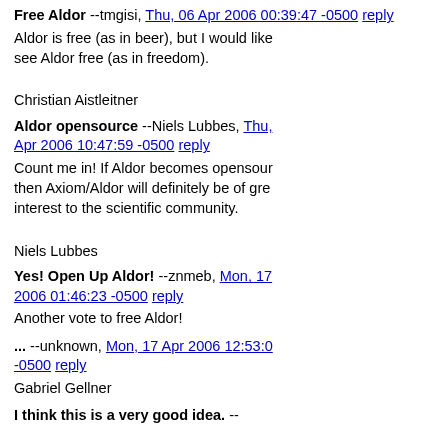Free Aldor --tmgisi, Thu, 06 Apr 2006 00:39:47 -0500 reply
Aldor is free (as in beer), but I would like see Aldor free (as in freedom).

Christian Aistleitner
Aldor opensource --Niels Lubbes, Thu, Apr 2006 10:47:59 -0500 reply
Count me in! If Aldor becomes opensource then Axiom/Aldor will definitely be of great interest to the scientific community.

Niels Lubbes
Yes! Open Up Aldor! --znmeb, Mon, 17 2006 01:46:23 -0500 reply
Another vote to free Aldor!
... --unknown, Mon, 17 Apr 2006 12:53:0 -0500 reply
Gabriel Gellner
I think this is a very good idea. --